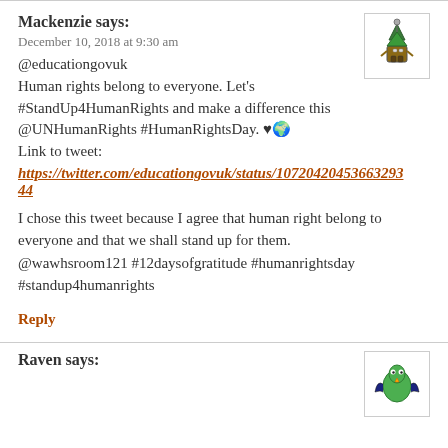Mackenzie says:
December 10, 2018 at 9:30 am
@educationgovuk
Human rights belong to everyone. Let's #StandUp4HumanRights and make a difference this @UNHumanRights #HumanRightsDay. ♥🌍
Link to tweet:
https://twitter.com/educationgovuk/status/107204204536632934 4
I chose this tweet because I agree that human right belong to everyone and that we shall stand up for them. @wawhsroom121 #12daysofgratitude #humanrightsday #standup4humanrights
Reply
Raven says: